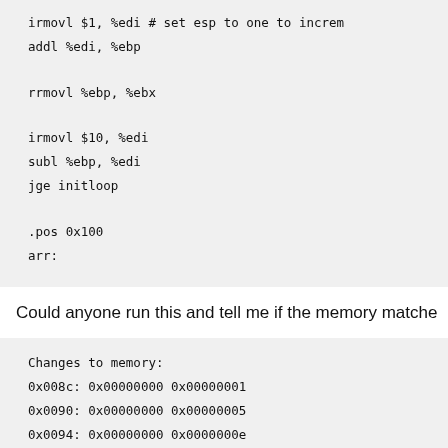irmovl $1, %edi # set esp to one to increm
    addl %edi, %ebp

    rrmovl %ebp, %ebx

    irmovl $10, %edi
    subl %ebp, %edi
    jge initloop

.pos 0x100
arr:
Could anyone run this and tell me if the memory matche
Changes to memory:
0x008c: 0x00000000   0x00000001
0x0090: 0x00000000   0x00000005
0x0094: 0x00000000   0x0000000e
0x0098: 0x00000000   0x0000001e
0x009c: 0x00000000   0x00000037
0x00a0: 0x00000000   0x0000005b